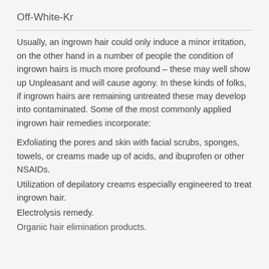Off-White-Kr
Usually, an ingrown hair could only induce a minor irritation, on the other hand in a number of people the condition of ingrown hairs is much more profound – these may well show up Unpleasant and will cause agony. In these kinds of folks, if ingrown hairs are remaining untreated these may develop into contaminated. Some of the most commonly applied ingrown hair remedies incorporate:
Exfoliating the pores and skin with facial scrubs, sponges, towels, or creams made up of acids, and ibuprofen or other NSAIDs.
Utilization of depilatory creams especially engineered to treat ingrown hair.
Electrolysis remedy.
Organic hair elimination products.